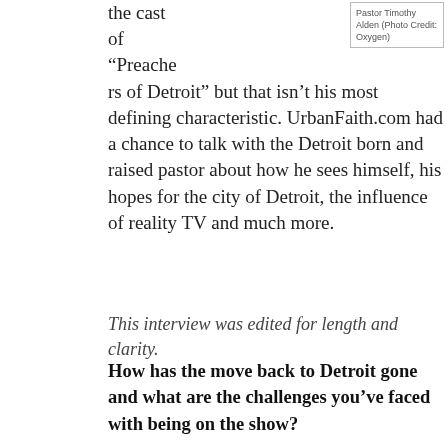Pastor Timothy Alden (Photo Credit: Oxygen)
the cast of “Preachers of Detroit” but that isn’t his most defining characteristic. UrbanFaith.com had a chance to talk with the Detroit born and raised pastor about how he sees himself, his hopes for the city of Detroit, the influence of reality TV and much more.
This interview was edited for length and clarity.
How has the move back to Detroit gone and what are the challenges you’ve faced with being on the show?
I still live in LA so I didn’t move physically back to Detroit. I’ve been going back and forth to Detroit because I have family there and I do ministry on and off at different churches and different events in